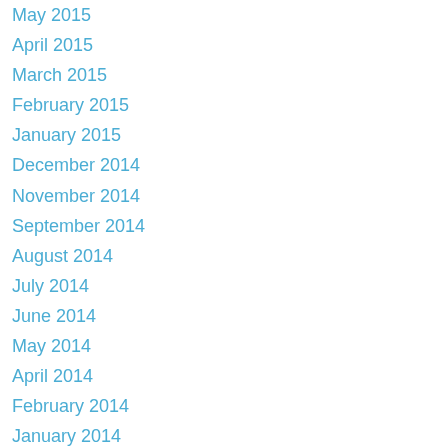May 2015
April 2015
March 2015
February 2015
January 2015
December 2014
November 2014
September 2014
August 2014
July 2014
June 2014
May 2014
April 2014
February 2014
January 2014
December 2013
November 2013
October 2013
September 2013
August 2013
July 2013